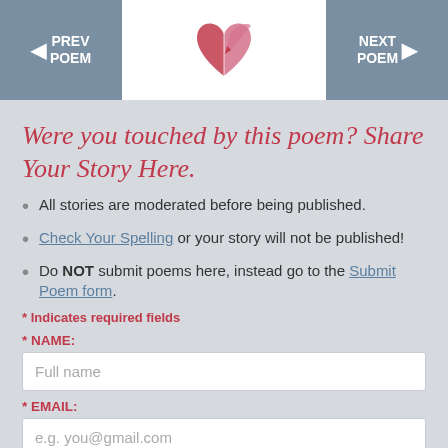PREV POEM | [logo] | NEXT POEM
Were you touched by this poem? Share Your Story Here.
All stories are moderated before being published.
Check Your Spelling or your story will not be published!
Do NOT submit poems here, instead go to the Submit Poem form.
* Indicates required fields
* NAME:
Full name
* EMAIL:
e.g. you@gmail.com
Not published.